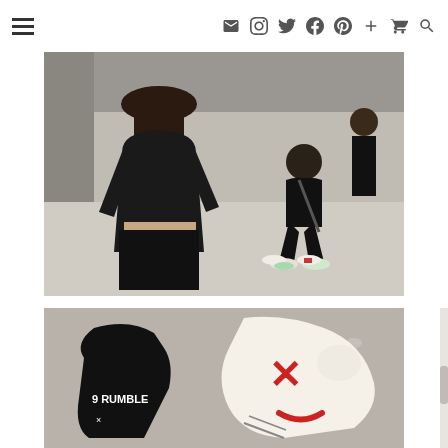Navigation bar with hamburger menu, mail, instagram, twitter, facebook, pinterest, plus, cart, and search icons
[Figure (photo): Street photo showing a woman from behind wearing a black leather jacket with a cropped tie-front detail, black pants. Other people visible in background, one crouching, wearing sneakers. Indoor/outdoor setting with grey floor.]
[Figure (photo): Close-up photo of boxing gloves. One black glove with white text reading 'RUMBLE' and a number, and one white glove with a red X and red curved mark (sad/X face emoji style).]